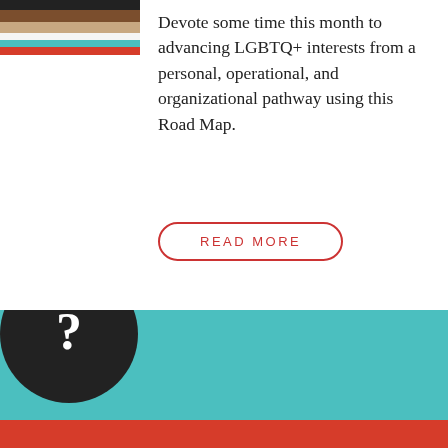[Figure (illustration): Partial view of a Pride flag with diagonal colored stripes (black, brown, tan, white, teal, red) in top-left corner]
Devote some time this month to advancing LGBTQ+ interests from a personal, operational, and organizational pathway using this Road Map.
READ MORE
[Figure (illustration): Teal/turquoise background section with a large dark circle containing a white question mark, and a red bar at the bottom]